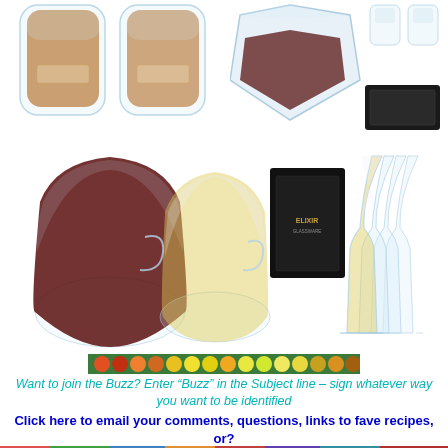[Figure (photo): Two double-wall whiskey/bourbon glasses with amber liquid, side by side on white background]
[Figure (photo): Diamond-shaped wine decanter filled with red wine, alongside crystal whiskey glasses and black gift box]
[Figure (photo): Two stemless wine glasses, one with red wine and one with white wine]
[Figure (photo): Set of tall stemmed wine glasses next to a black Elixir Glassware gift box]
[Figure (photo): Colorful horizontal banner strip with various food/vegetable icons]
Want to join the Buzz? Enter “Buzz” in the Subject line – sign whatever way you want to be identified
Click here to email your comments, questions, links to fave recipes, or?
[Figure (photo): Colorful horizontal banner strip at bottom of page]